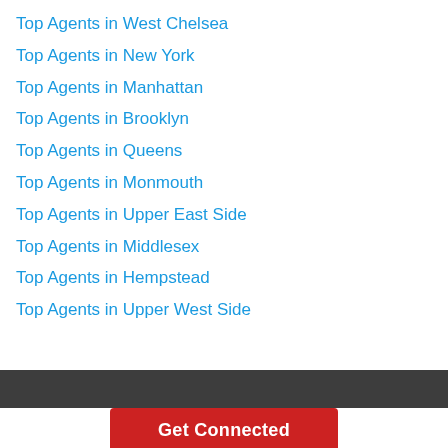Top Agents in West Chelsea
Top Agents in New York
Top Agents in Manhattan
Top Agents in Brooklyn
Top Agents in Queens
Top Agents in Monmouth
Top Agents in Upper East Side
Top Agents in Middlesex
Top Agents in Hempstead
Top Agents in Upper West Side
Get Connected
253 10th Avenue, New York, NY 10001